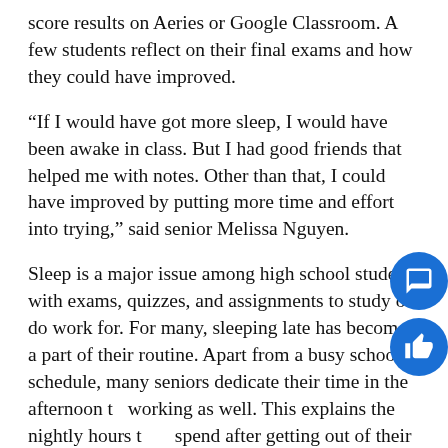score results on Aeries or Google Classroom. A few students reflect on their final exams and how they could have improved.
“If I would have got more sleep, I would have been awake in class. But I had good friends that helped me with notes. Other than that, I could have improved by putting more time and effort into trying,” said senior Melissa Nguyen.
Sleep is a major issue among high school students with exams, quizzes, and assignments to study or do work for. For many, sleeping late has become a part of their routine. Apart from a busy school schedule, many seniors dedicate their time in the afternoon to working as well. This explains the nightly hours they spend after getting out of their part-time jobs studying and submitting classwork at the last minute.